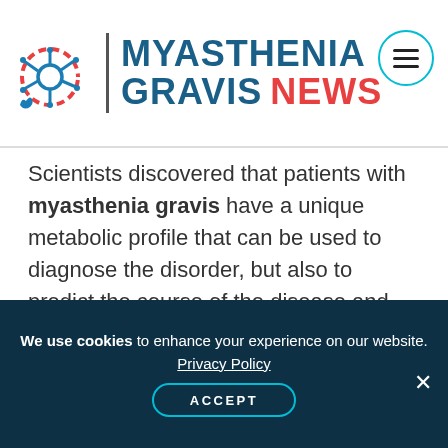MYASTHENIA GRAVIS NEWS
Scientists discovered that patients with myasthenia gravis have a unique metabolic profile that can be used to diagnose the disorder, but also to predict the course of the disease and possibly lead to personalized treatments.
Advertisement
[Figure (other): Advertisement placeholder with grey cell-like pattern background]
We use cookies to enhance your experience on our website. Privacy Policy ACCEPT